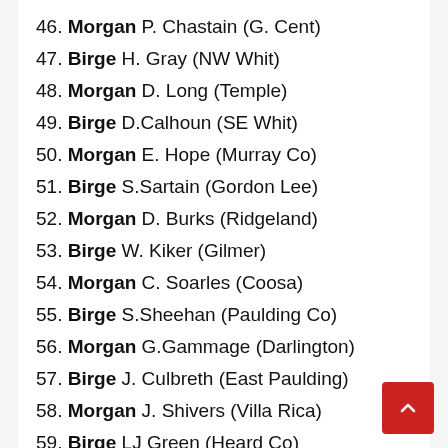46. Morgan P. Chastain (G. Cent)
47. Birge H. Gray (NW Whit)
48. Morgan D. Long (Temple)
49. Birge D.Calhoun (SE Whit)
50. Morgan E. Hope (Murray Co)
51. Birge S.Sartain (Gordon Lee)
52. Morgan D. Burks (Ridgeland)
53. Birge W. Kiker (Gilmer)
54. Morgan C. Soarles (Coosa)
55. Birge S.Sheehan (Paulding Co)
56. Morgan G.Gammage (Darlington)
57. Birge J. Culbreth (East Paulding)
58. Morgan J. Shivers (Villa Rica)
59. Birge LJ Green (Heard Co)
60. Morgan J. Riggs (Hiram)